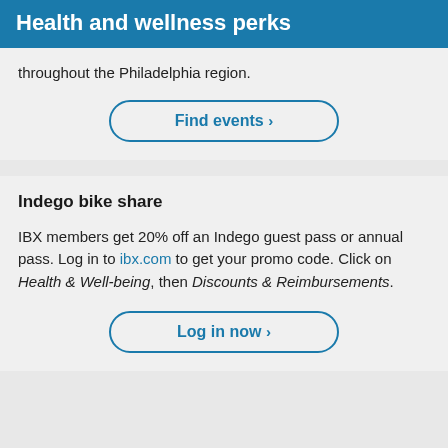Health and wellness perks
throughout the Philadelphia region.
Find events >
Indego bike share
IBX members get 20% off an Indego guest pass or annual pass. Log in to ibx.com to get your promo code. Click on Health & Well-being, then Discounts & Reimbursements.
Log in now >